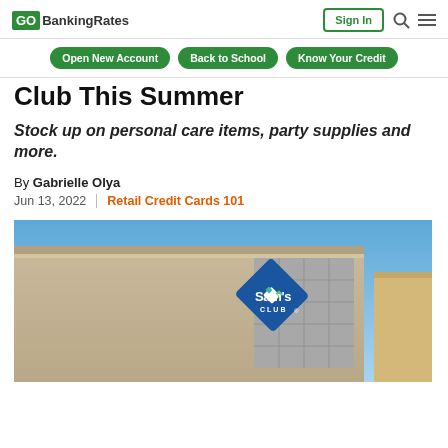GOBankingRates | Sign In
Open New Account | Back to School | Know Your Credit
Club This Summer
Stock up on personal care items, party supplies and more.
By Gabrielle Olya
Jun 13, 2022 | Retail Credit Cards 101
[Figure (photo): Exterior of a Sam's Club store building showing the Sam's Club logo sign on the facade, blue sky in background.]